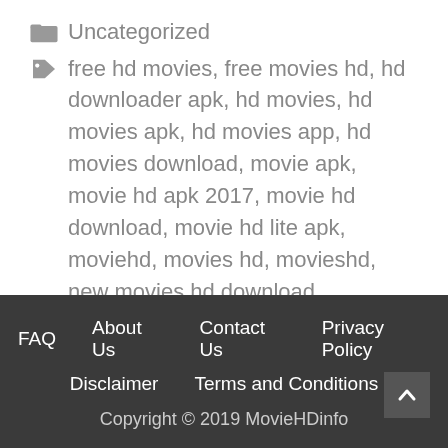Uncategorized
free hd movies, free movies hd, hd downloader apk, hd movies, hd movies apk, hd movies app, hd movies download, movie apk, movie hd apk 2017, movie hd download, movie hd lite apk, moviehd, movies hd, movieshd, new movies hd download
FAQ  About Us  Contact Us  Privacy Policy  Disclaimer  Terms and Conditions  Copyright © 2019 MovieHDinfo